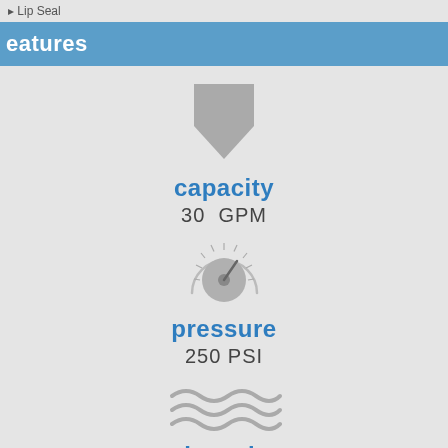Lip Seal
eatures
[Figure (illustration): Gray downward arrow icon representing flow capacity]
capacity
30  GPM
[Figure (illustration): Gray pressure gauge / dial icon]
pressure
250 PSI
[Figure (illustration): Gray wavy lines icon representing viscosity / fluid flow]
viscosity